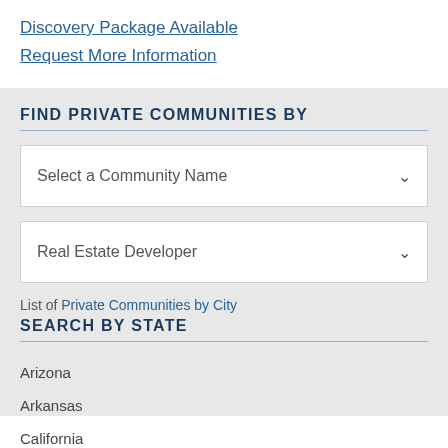Discovery Package Available
Request More Information
FIND PRIVATE COMMUNITIES BY
Select a Community Name
Real Estate Developer
List of Private Communities by City
SEARCH BY STATE
Arizona
Arkansas
California